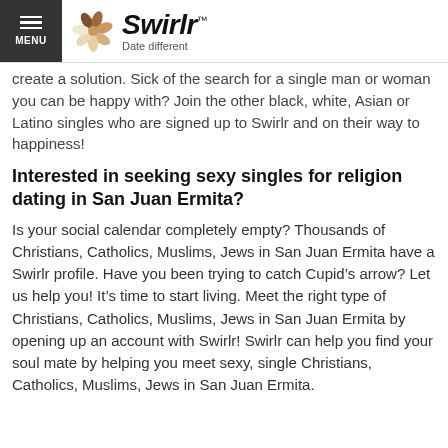Swirlr — Date different
create a solution. Sick of the search for a single man or woman you can be happy with? Join the other black, white, Asian or Latino singles who are signed up to Swirlr and on their way to happiness!
Interested in seeking sexy singles for religion dating in San Juan Ermita?
Is your social calendar completely empty? Thousands of Christians, Catholics, Muslims, Jews in San Juan Ermita have a Swirlr profile. Have you been trying to catch Cupid's arrow? Let us help you! It's time to start living. Meet the right type of Christians, Catholics, Muslims, Jews in San Juan Ermita by opening up an account with Swirlr! Swirlr can help you find your soul mate by helping you meet sexy, single Christians, Catholics, Muslims, Jews in San Juan Ermita.